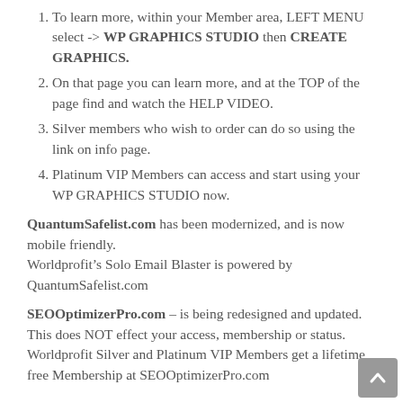To learn more, within your Member area, LEFT MENU select -> WP GRAPHICS STUDIO then CREATE GRAPHICS.
On that page you can learn more, and at the TOP of the page find and watch the HELP VIDEO.
Silver members who wish to order can do so using the link on info page.
Platinum VIP Members can access and start using your WP GRAPHICS STUDIO now.
QuantumSafelist.com has been modernized, and is now mobile friendly.
Worldprofit’s Solo Email Blaster is powered by QuantumSafelist.com
SEOOptimizerPro.com – is being redesigned and updated. This does NOT effect your access, membership or status.
Worldprofit Silver and Platinum VIP Members get a lifetime free Membership at SEOOptimizerPro.com